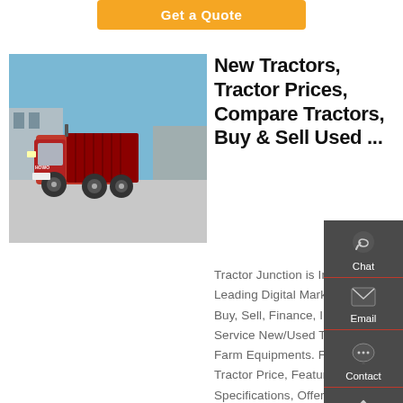Get a Quote
[Figure (photo): Red heavy-duty dump truck (HOWO brand) parked in a industrial yard with blue sky background]
New Tractors, Tractor Prices, Compare Tractors, Buy & Sell Used ...
Tractor Junction is India's Leading Digital Marketplace to Buy, Sell, Finance, Insure, Service New/Used Tractors and Farm Equipments. Find Out Tractor Price, Features, Specifications, Offers, discounts and on-road prices . Buy and Sell Used Tractors at Best
Chat
Email
Contact
Top